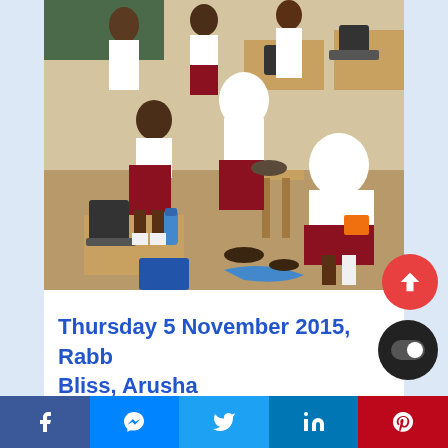[Figure (photo): Students in school uniforms (white tops, dark red/maroon skirts) sitting and working in a sewing classroom. Sewing machines are visible on wooden desks. Some students wearing white headscarves are bent over examining work on the floor. The room has a chalkboard in the background.]
Thursday 5 November 2015, Rabb... Bliss, Arusha
Social sharing bar with Facebook, Messenger, Twitter, LinkedIn, Pinterest buttons